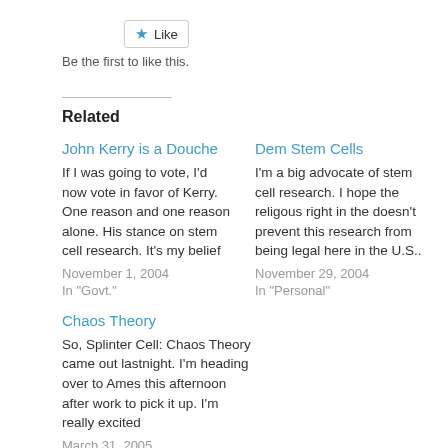[Figure (other): Like button with star icon and border]
Be the first to like this.
Related
John Kerry is a Douche
If I was going to vote, I'd now vote in favor of Kerry. One reason and one reason alone. His stance on stem cell research. It's my belief
November 1, 2004
In "Govt."
Dem Stem Cells
I'm a big advocate of stem cell research. I hope the religous right in the doesn't prevent this research from being legal here in the U.S..
November 29, 2004
In "Personal"
Chaos Theory
So, Splinter Cell: Chaos Theory came out lastnight. I'm heading over to Ames this afternoon after work to pick it up. I'm really excited
March 31, 2005